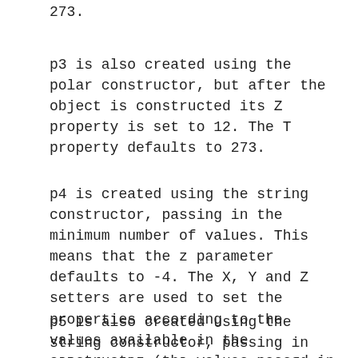273.
p3 is also created using the polar constructor, but after the object is constructed its Z property is set to 12.  The T property defaults to 273.
p4 is created using the string constructor, passing in the minimum number of values.  This means that the z parameter defaults to -4.  The X, Y and Z setters are used to set the properties according to the values available in the constructor (the values passed in and the default).  The T property defaults to 273.
p5 is also created using the string constructor, passing in all possible values.  z therefore has a non-default value of 15, and then things progress